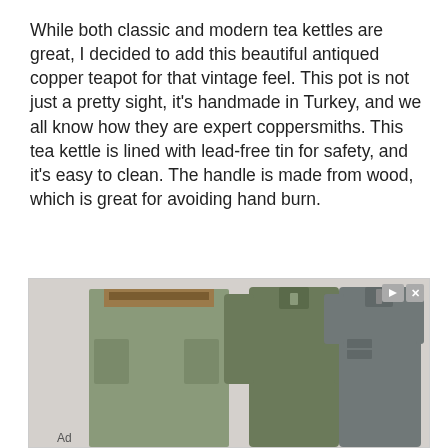While both classic and modern tea kettles are great, I decided to add this beautiful antiqued copper teapot for that vintage feel. This pot is not just a pretty sight, it's handmade in Turkey, and we all know how they are expert coppersmiths. This tea kettle is lined with lead-free tin for safety, and it's easy to clean. The handle is made from wood, which is great for avoiding hand burn.
[Figure (other): Advertisement banner showing clothing items (cargo pants, two shirts/jackets) and a red Open button for 'Free Datasheet Search site']